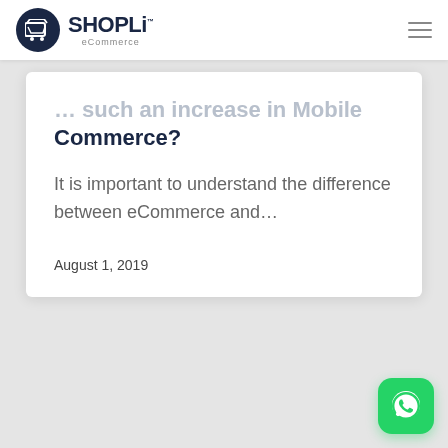SHOPLi eCommerce
... such an increase in Mobile Commerce?
It is important to understand the difference between eCommerce and...
August 1, 2019
[Figure (logo): WhatsApp icon button in green, rounded square]